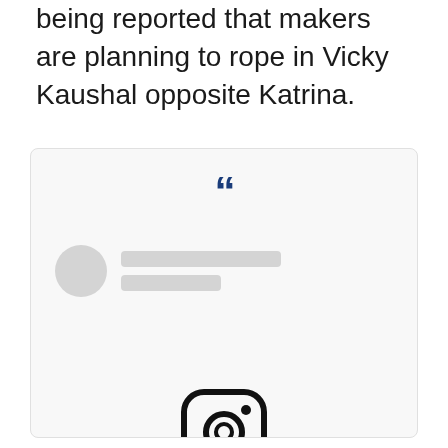being reported that makers are planning to rope in Vicky Kaushal opposite Katrina.
[Figure (screenshot): Instagram embedded post placeholder showing a large blue double-quote icon at the top, a placeholder user avatar (grey circle) with two grey loading bars beside it, and at the bottom an Instagram camera icon with a 'View this post on Instagram' link in blue text.]